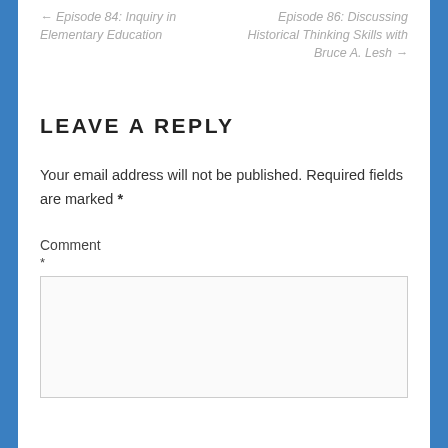← Episode 84: Inquiry in Elementary Education
Episode 86: Discussing Historical Thinking Skills with Bruce A. Lesh →
LEAVE A REPLY
Your email address will not be published. Required fields are marked *
Comment
*